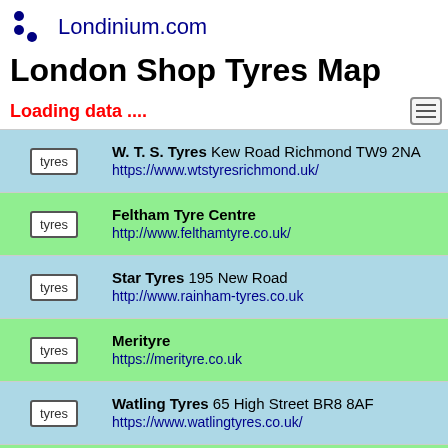Londinium.com
London Shop Tyres Map
Loading data ....
W. T. S. Tyres Kew Road Richmond TW9 2NA https://www.wtstyresrichmond.uk/
Feltham Tyre Centre http://www.felthamtyre.co.uk/
Star Tyres 195 New Road http://www.rainham-tyres.co.uk
Merityre https://merityre.co.uk
Watling Tyres 65 High Street BR8 8AF https://www.watlingtyres.co.uk/
Ye Corner Tyres UNIT 21A Moor Park Industria